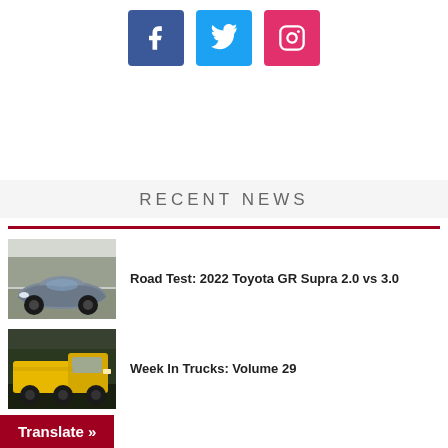[Figure (other): Social media icon buttons: Facebook (blue), Twitter (light blue), Instagram (pink/red)]
RECENT NEWS
[Figure (photo): Gray Toyota GR Supra sports car photographed outdoors among bare trees]
Road Test: 2022 Toyota GR Supra 2.0 vs 3.0
[Figure (photo): Yellow truck photographed outdoors with trees in background]
Week In Trucks: Volume 29
Translate »